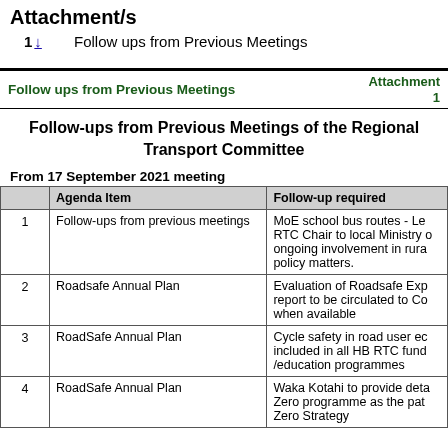Attachment/s
1 ↓   Follow ups from Previous Meetings
Follow ups from Previous Meetings   Attachment 1
Follow-ups from Previous Meetings of the Regional Transport Committee
From 17 September 2021 meeting
|  | Agenda Item | Follow-up required |
| --- | --- | --- |
| 1 | Follow-ups from previous meetings | MoE school bus routes - Le RTC Chair to local Ministry o ongoing involvement in rura policy matters. |
| 2 | Roadsafe Annual Plan | Evaluation of Roadsafe Exp report to be circulated to Co when available |
| 3 | RoadSafe Annual Plan | Cycle safety in road user ec included in all HB RTC fund /education programmes |
| 4 | RoadSafe Annual Plan | Waka Kotahi to provide deta Zero programme as the pat Zero Strategy |